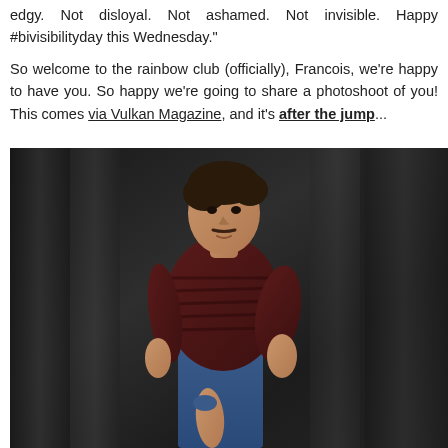edgy. Not disloyal. Not ashamed. Not invisible. Happy #bivisibilityday this Wednesday."
So welcome to the rainbow club (officially), Francois, we're happy to have you. So happy we're going to share a photoshoot of you! This comes via Vulkan Magazine, and it's after the jump...
[Figure (photo): Man in dark striped t-shirt and blue pants standing in profile against dark curtain background, looking back over his shoulder]